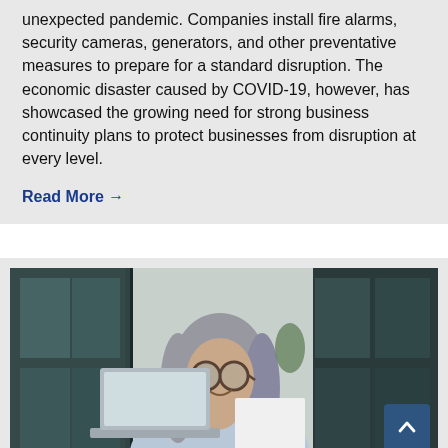unexpected pandemic. Companies install fire alarms, security cameras, generators, and other preventative measures to prepare for a standard disruption. The economic disaster caused by COVID-19, however, has showcased the growing need for strong business continuity plans to protect businesses from disruption at every level.
Read More →
[Figure (photo): Middle-aged woman with long grey hair and glasses, smiling slightly, sitting at a laptop and holding a document, photographed in an office or home office setting with large dark-framed windows in the background.]